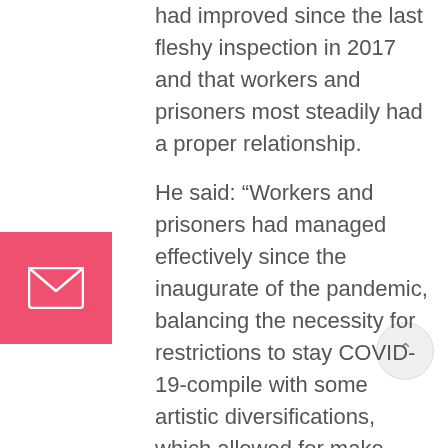had improved since the last fleshy inspection in 2017 and that workers and prisoners most steadily had a proper relationship.
He said: “Workers and prisoners had managed effectively since the inaugurate of the pandemic, balancing the necessity for restrictions to stay COVID-19-compile with some artistic diversifications, which allowed for make stronger to be offered where wished.
“Sure relationships between workers and prisoners had been a energy, and the impetus to withhold first rate residing prerequisites had persisted within the course of the COVID-19 length.
“The animated in remains for the panel